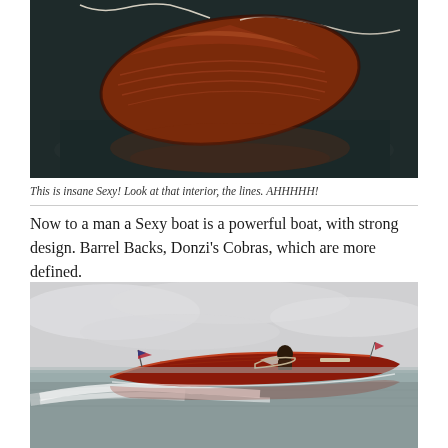[Figure (photo): Aerial view of a classic wooden boat with rich mahogany finish floating on dark water, seen from above and to the rear, with a rope visible.]
This is insane Sexy! Look at that interior, the lines. AHHHHH!
Now to a man a Sexy boat is a powerful boat, with strong design. Barrel Backs, Donzi’s Cobras, which are more defined.
[Figure (photo): A classic red wooden speedboat racing across calm water at high speed, creating a white wake, with a person at the helm and flags at bow and stern, under a cloudy sky.]